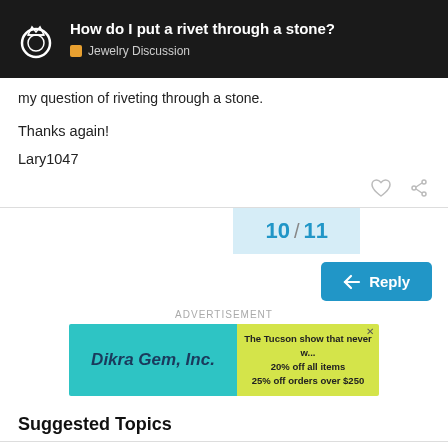How do I put a rivet through a stone? | Jewelry Discussion
my question of riveting through a stone.
Thanks again!
Lary1047
10 / 11
Reply
ADVERTISEMENT
[Figure (other): Dikra Gem, Inc. advertisement banner. Teal background on left with company name in italic bold font. Yellow-green background on right with text: The Tucson show that never w... 20% off all items 25% off orders over $250]
Suggested Topics